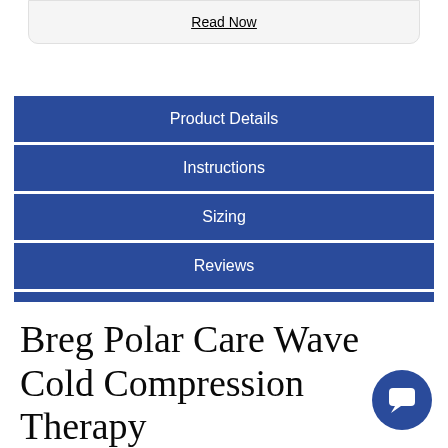Read Now
Product Details
Instructions
Sizing
Reviews
FAQ
Terms of Use
Breg Polar Care Wave Cold Compression Therapy